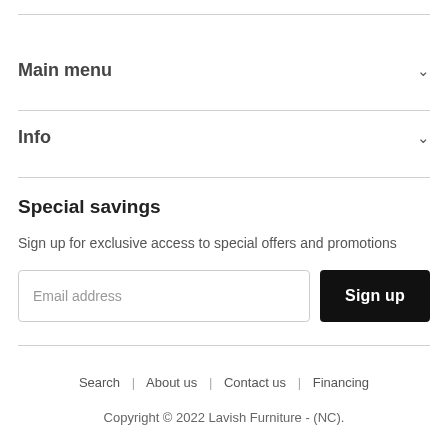Main menu
Info
Special savings
Sign up for exclusive access to special offers and promotions
Search | About us | Contact us | Financing
Copyright © 2022 Lavish Furniture - (NC).